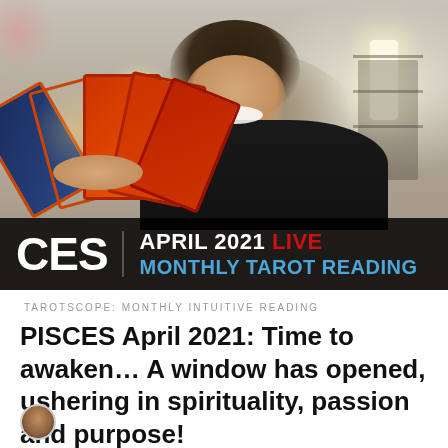[Figure (screenshot): Screenshot of a YouTube video thumbnail showing a man with curly dark hair smiling and holding a fan of tarot cards with orange/red backs. He is wearing a black shirt. The video overlay text reads: 'CES | APRIL 2021 LIVE MONTHLY TAROT READING' on a dark semi-transparent banner at the bottom of the image.]
TAROTSCOPE: MONTHLY INTUITIVE READING
PISCES April 2021: Time to awaken… A window has opened, ushering in spirituality, passion and purpose!